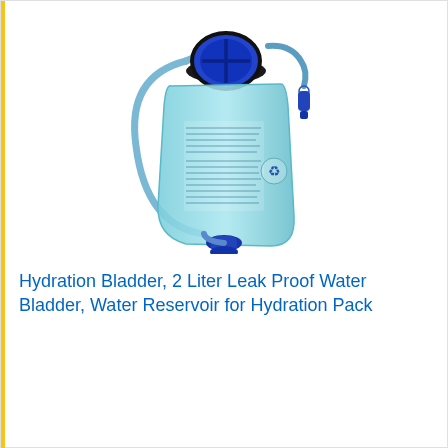[Figure (photo): A blue hydration bladder / water reservoir with a drinking tube and bite valve, shown from the front against a white background.]
Hydration Bladder, 2 Liter Leak Proof Water Bladder, Water Reservoir for Hydration Pack
View on Amazon